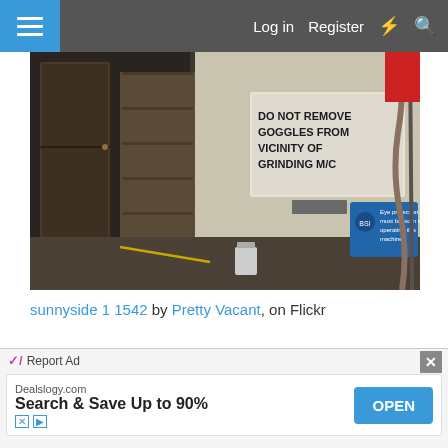Log in  Register
[Figure (photo): Abandoned industrial interior with shelving units, a wooden door, and a white wall with handwritten sign reading 'DO NOT REMOVE GOGGLES FROM VICINITY OF GRINDING M/C' and a blue safety sign saying 'Eye protection must be worn when operating this machine']
sunnyside 1 1542 by Pretty Vacant, on Flickr
[Figure (photo): Partial view of abandoned building interior showing ceiling structure with glass panels and metal framework]
Report Ad
Dealslogy.com
Search & Save Up to 90%